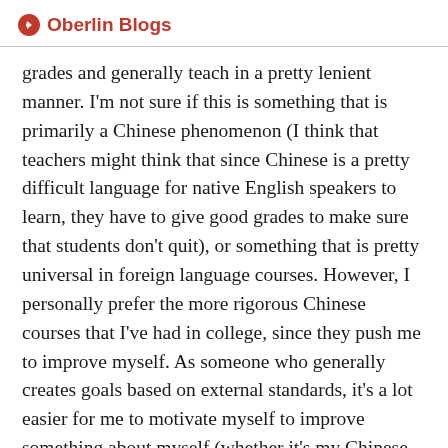Oberlin Blogs
grades and generally teach in a pretty lenient manner. I’m not sure if this is something that is primarily a Chinese phenomenon (I think that teachers might think that since Chinese is a pretty difficult language for native English speakers to learn, they have to give good grades to make sure that students don’t quit), or something that is pretty universal in foreign language courses. However, I personally prefer the more rigorous Chinese courses that I’ve had in college, since they push me to improve myself. As someone who generally creates goals based on external standards, it’s a lot easier for me to motivate myself to improve something about myself (whether it’s my Chinese ability or a